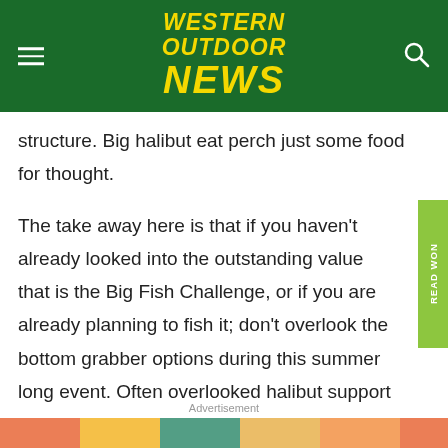Western Outdoor News
structure. Big halibut eat perch just some food for thought.
The take away here is that if you haven't already looked into the outstanding value that is the Big Fish Challenge, or if you are already planning to fish it; don't overlook the bottom grabber options during this summer long event. Often overlooked halibut support a year round fishery in southern California waters.
Advertisement
[Figure (illustration): Colorful advertisement banner at the bottom of the page]